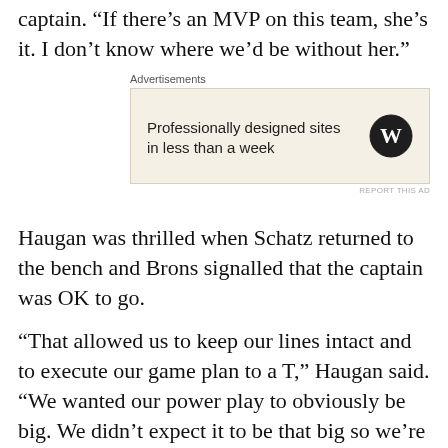captain. “If there’s an MVP on this team, she’s it. I don’t know where we’d be without her.”
[Figure (other): WordPress advertisement banner: 'Professionally designed sites in less than a week' with WordPress logo on a tan/beige background]
Haugan was thrilled when Schatz returned to the bench and Brons signalled that the captain was OK to go.
“That allowed us to keep our lines intact and to execute our game plan to a T,” Haugan said. “We wanted our power play to obviously be big. We didn’t expect it to be that big so we’re very fortunate. You need your top guys to be your best guys and they were.”